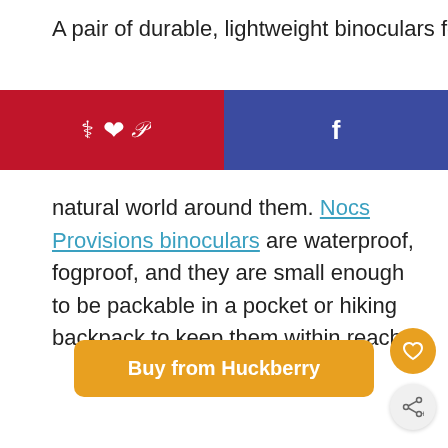A pair of durable, lightweight binoculars for
[Figure (screenshot): Social sharing bar with Pinterest (red, left half) and Facebook (blue, right half) buttons]
natural world around them. Nocs Provisions binoculars are waterproof, fogproof, and they are small enough to be packable in a pocket or hiking backpack to keep them within reach.
Buy from Huckberry